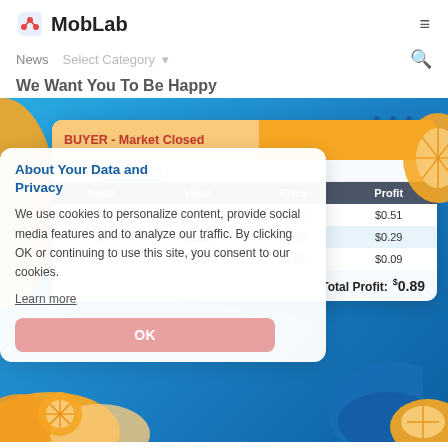MobLab
News   Select Category ▾
We Want You To Be Happy
[Figure (screenshot): MobLab BUYER Market Closed interface showing a transactions table with columns for Trade, Value, Price, Profit. Rows: 1 - $1.59, $0.99, $0.51; 2 - $1.32, $1.03, $0.29; 3 - $1.14, $1.05, $0.09. Total Profit: $0.89. Overlaid by a cookie consent dialog.]
About Your Data and Privacy
We use cookies to personalize content, provide social media features and to analyze our traffic. By clicking OK or continuing to use this site, you consent to our cookies.
Learn more
OK